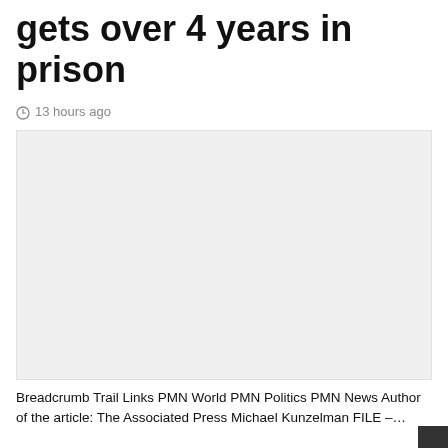gets over 4 years in prison
13 hours ago
[Figure (photo): Placeholder image area, light gray background]
Breadcrumb Trail Links PMN World PMN Politics PMN News Author of the article: The Associated Press Michael Kunzelman FILE –…
Read More »